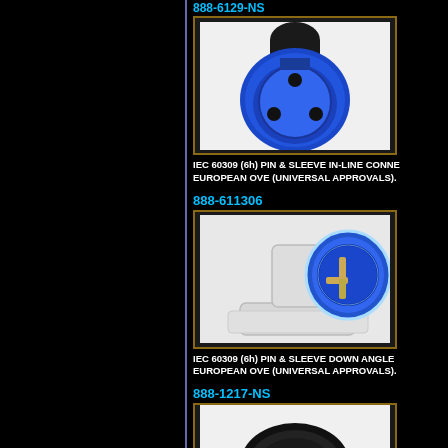888-6129-NS (partial, top)
[Figure (photo): IEC 60309 6h Pin & Sleeve In-Line Connector, blue with black strain relief, front view showing 3-pin socket face]
IEC 60309 (6h) PIN & SLEEVE IN-LINE CONNECTOR EUROPEAN OVE (UNIVERSAL APPROVALS).
888-611306
[Figure (photo): IEC 60309 6h Pin & Sleeve Down Angle plug, blue round head on white angled base, 3 pins visible]
IEC 60309 (6h) PIN & SLEEVE DOWN ANGLE EUROPEAN OVE (UNIVERSAL APPROVALS).
888-1217-NS
[Figure (photo): IEC 60309 connector, black oval shape partially visible at bottom of page]